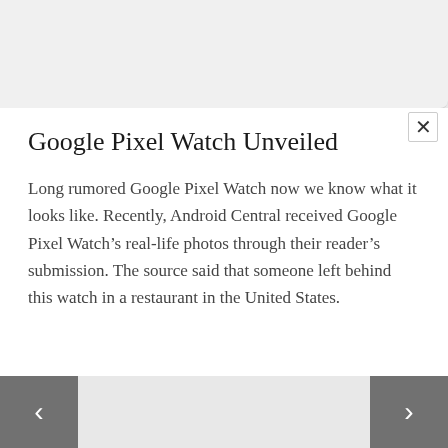Google Pixel Watch Unveiled
Long rumored Google Pixel Watch now we know what it looks like. Recently, Android Central received Google Pixel Watch’s real-life photos through their reader’s submission. The source said that someone left behind this watch in a restaurant in the United States.